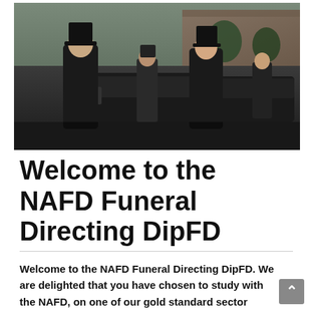[Figure (photo): Photograph of funeral directors in formal black attire and top hats standing in front of black funeral vehicles outside a building. An elderly man on the left and a woman on the right are in the foreground, with two more staff members visible in the background.]
Welcome to the NAFD Funeral Directing DipFD
Welcome to the NAFD Funeral Directing DipFD.  We are delighted that you have chosen to study with the NAFD, on one of our gold standard sector leading training programmes.   We are committed to creating